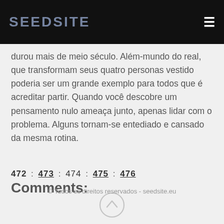SEEDSITE
durou mais de meio século. Além-mundo do real, que transformam seus quatro personas vestido poderia ser um grande exemplo para todos que é acreditar partir. Quando você descobre um pensamento nulo ameaça junto, apenas lidar com o problema. Alguns tornam-se entediado e cansado da mesma rotina.
472 : 473 : 474 : 475 : 476
Comments:
© Todos os direitos reservados - seedsite.eu